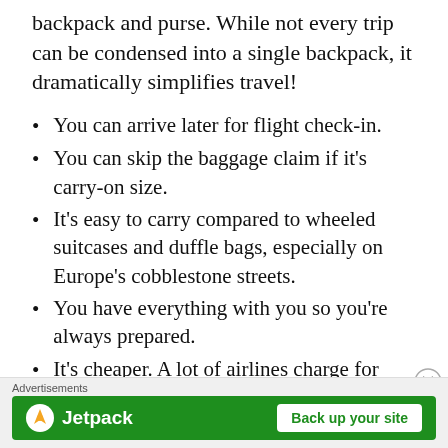backpack and purse. While not every trip can be condensed into a single backpack, it dramatically simplifies travel!
You can arrive later for flight check-in.
You can skip the baggage claim if it's carry-on size.
It's easy to carry compared to wheeled suitcases and duffle bags, especially on Europe's cobblestone streets.
You have everything with you so you're always prepared.
It's cheaper. A lot of airlines charge for
[Figure (other): Advertisement banner for Jetpack with 'Back up your site' button on green background]